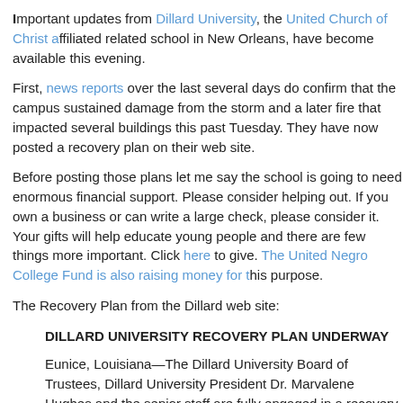Important updates from Dillard University, the United Church of Christ affiliated related school in New Orleans, have become available this evening.
First, news reports over the last several days do confirm that the campus sustained damage from the storm and a later fire that impacted several buildings this past Tuesday. They have now posted a recovery plan on their web site.
Before posting those plans let me say the school is going to need enormous financial support. Please consider helping out. If you own a business or can write a large check, please consider it. Your gifts will help educate young people and there are few things more important. Click here to give. The United Negro College Fund is also raising money for this purpose.
The Recovery Plan from the Dillard web site:
DILLARD UNIVERSITY RECOVERY PLAN UNDERWAY
Eunice, Louisiana—The Dillard University Board of Trustees, Dillard University President Dr. Marvalene Hughes and the senior staff are fully engaged in a recovery plan for our beloved 55 acre campus.
The following action items are being executed immediately:
We have committed to all registered students that they will receive full academic credit for this academic year. If we can resume classes in some capacity on the Dillard campus, we will provide the equivalent of two ful